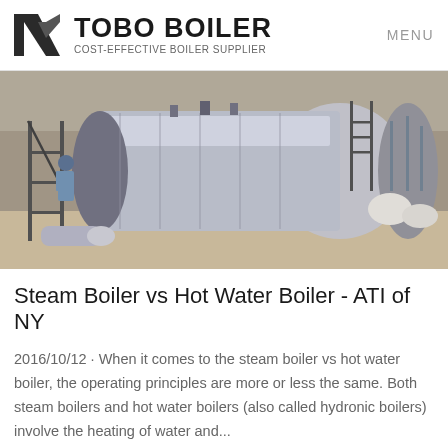TOBO BOILER — COST-EFFECTIVE BOILER SUPPLIER — MENU
[Figure (photo): Industrial boiler being installed outdoors; a worker in a hard hat works on scaffolding beside a large horizontal cylindrical steel boiler tank.]
Steam Boiler vs Hot Water Boiler - ATI of NY
2016/10/12 · When it comes to the steam boiler vs hot water boiler, the operating principles are more or less the same. Both steam boilers and hot water boilers (also called hydronic boilers) involve the heating of water and...